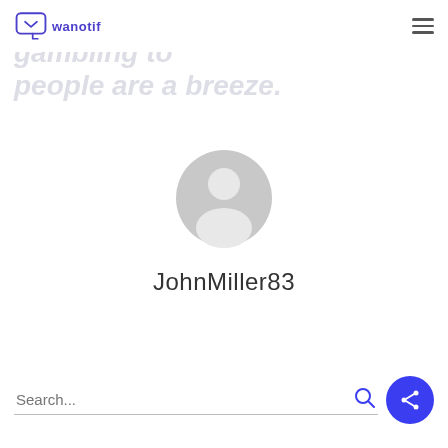wanotif [logo]
dive away from online casino gambling to people are a breeze.
[Figure (illustration): Generic user avatar icon — circular grey silhouette with head and shoulders]
JohnMiller83
Search...